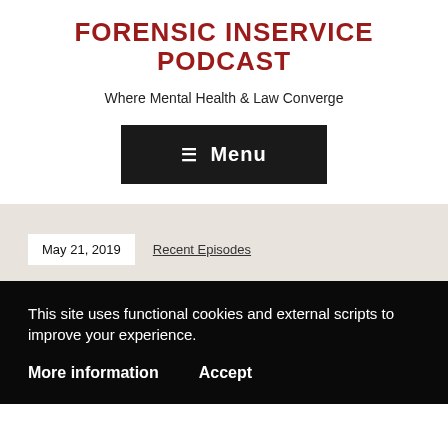FORENSIC INSERVICE PODCAST
Where Mental Health & Law Converge
[Figure (other): Menu button — dark rectangle with hamburger icon and 'Menu' text in white]
May 21, 2019
Recent Episodes
Interview with John Snook of the
This site uses functional cookies and external scripts to improve your experience.
More information    Accept